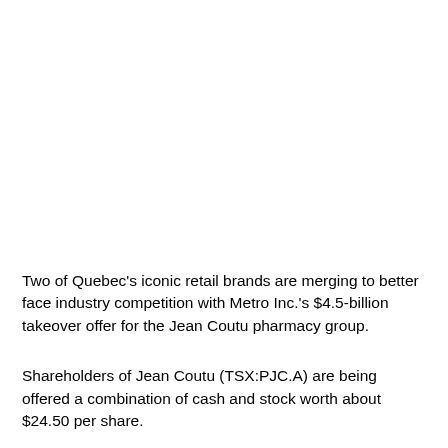Two of Quebec's iconic retail brands are merging to better face industry competition with Metro Inc.'s $4.5-billion takeover offer for the Jean Coutu pharmacy group.
Shareholders of Jean Coutu (TSX:PJC.A) are being offered a combination of cash and stock worth about $24.50 per share.